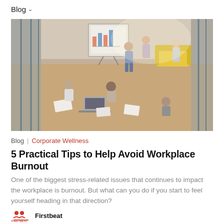Blog ∨
[Figure (photo): Overhead view of a modern open-plan office with multiple people working collaboratively on the floor and standing around a whiteboard with charts, laptops scattered around, warm wood flooring and yellow sofa in background]
Blog | Corporate Wellness
5 Practical Tips to Help Avoid Workplace Burnout
One of the biggest stress-related issues that continues to impact the workplace is burnout. But what can you do if you start to feel yourself heading in that direction?
Firstbeat